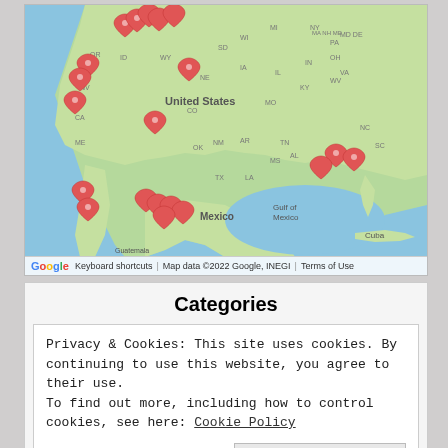[Figure (map): Google Maps showing North America (United States, Mexico, Gulf of Mexico, Cuba) with multiple red location pin markers scattered across the western and southeastern United States. Map includes zoom controls (+/-) on the right side. Footer shows Google logo, 'Keyboard shortcuts', 'Map data ©2022 Google, INEGI', 'Terms of Use'.]
Categories
Privacy & Cookies: This site uses cookies. By continuing to use this website, you agree to their use.
To find out more, including how to control cookies, see here: Cookie Policy
Close and accept
» Passage (4)